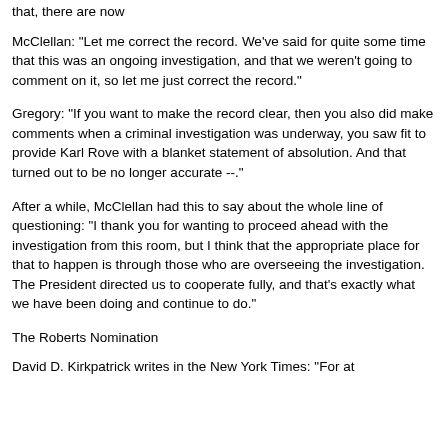that, there are now
McClellan: "Let me correct the record. We've said for quite some time that this was an ongoing investigation, and that we weren't going to comment on it, so let me just correct the record."
Gregory: "If you want to make the record clear, then you also did make comments when a criminal investigation was underway, you saw fit to provide Karl Rove with a blanket statement of absolution. And that turned out to be no longer accurate --."
After a while, McClellan had this to say about the whole line of questioning: "I thank you for wanting to proceed ahead with the investigation from this room, but I think that the appropriate place for that to happen is through those who are overseeing the investigation. The President directed us to cooperate fully, and that's exactly what we have been doing and continue to do."
The Roberts Nomination
David D. Kirkpatrick writes in the New York Times: "For at